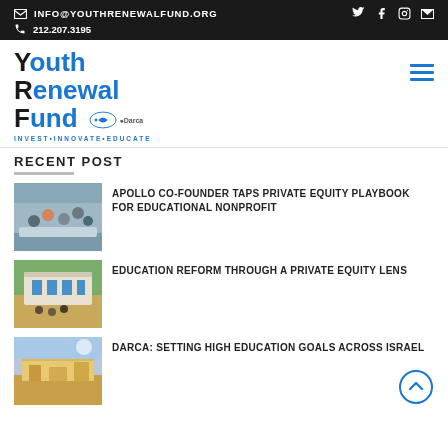INFO@YOUTHRENEWALFUND.ORG | 212.207.3195
[Figure (logo): Youth Renewal Fund logo with Darca branding and tagline INVEST•INNOVATE•EDUCATE]
RECENT POST
[Figure (photo): Group of people sitting in a circle, an indoor event or meeting]
APOLLO CO-FOUNDER TAPS PRIVATE EQUITY PLAYBOOK FOR EDUCATIONAL NONPROFIT
[Figure (photo): School building exterior with students outside, sunny day]
EDUCATION REFORM THROUGH A PRIVATE EQUITY LENS
[Figure (photo): Adobe-style building exterior, warm tones, Israel school]
DARCA: SETTING HIGH EDUCATION GOALS ACROSS ISRAEL